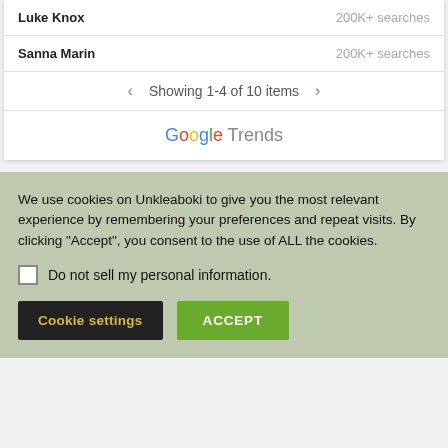Luke Knox — 200K+ searches
Sanna Marin — 200K+ searches
Showing 1-4 of 10 items
[Figure (logo): Google Trends logo text]
We use cookies on Unkleaboki to give you the most relevant experience by remembering your preferences and repeat visits. By clicking "Accept", you consent to the use of ALL the cookies.
Do not sell my personal information.
Cookie settings   ACCEPT